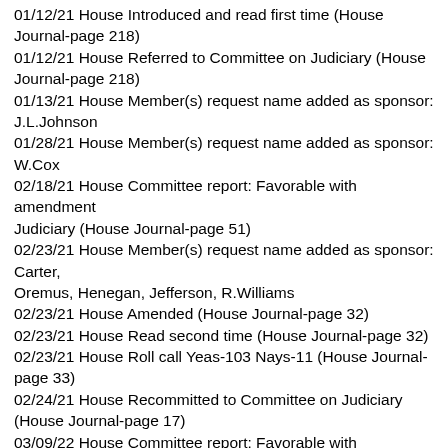01/12/21 House Introduced and read first time (House Journal-page 218)
01/12/21 House Referred to Committee on Judiciary (House Journal-page 218)
01/13/21 House Member(s) request name added as sponsor: J.L.Johnson
01/28/21 House Member(s) request name added as sponsor: W.Cox
02/18/21 House Committee report: Favorable with amendment
Judiciary (House Journal-page 51)
02/23/21 House Member(s) request name added as sponsor: Carter,
Oremus, Henegan, Jefferson, R.Williams
02/23/21 House Amended (House Journal-page 32)
02/23/21 House Read second time (House Journal-page 32)
02/23/21 House Roll call Yeas-103 Nays-11 (House Journal-page 33)
02/24/21 House Recommitted to Committee on Judiciary (House Journal-page 17)
03/09/22 House Committee report: Favorable with amendment
Judiciary (House Journal-page 35)
03/10/22 House Debate adjourned (House Journal-page